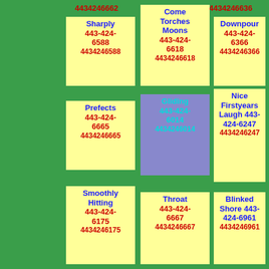4434246662 4434246557 4434246636
Sharply 443-424-6588 4434246588
Come Torches Moons 443-424-6618 4434246618
Downpour 443-424-6366 4434246366
Prefects 443-424-6665 4434246665
Gliding 443-424-6014 4434246014
Nice Firstyears Laugh 443-424-6247 4434246247
Smoothly Hitting 443-424-6175 4434246175
Throat 443-424-6667 4434246667
Blinked Shore 443-424-6961 4434246961